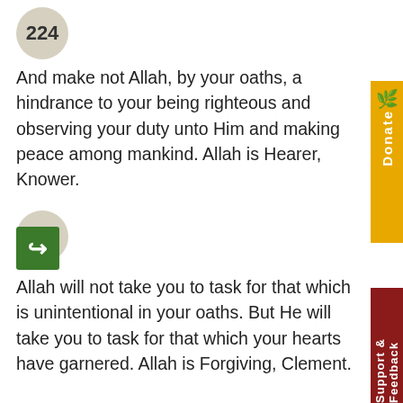224
And make not Allah, by your oaths, a hindrance to your being righteous and observing your duty unto Him and making peace among mankind. Allah is Hearer, Knower.
225
Allah will not take you to task for that which is unintentional in your oaths. But He will take you to task for that which your hearts have garnered. Allah is Forgiving, Clement.
226
Those who forswear their wives must wait four months; then, if they change their mind, lo! Allah is Forgiving, Merciful.
227